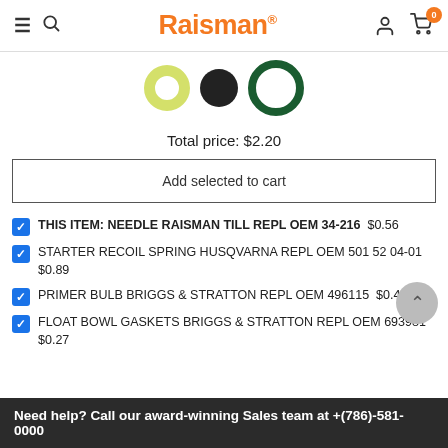Raisman
[Figure (photo): Product images: yellow ring gasket, black disk, and green ring gasket]
Total price: $2.20
Add selected to cart
THIS ITEM: NEEDLE RAISMAN TILL REPL OEM 34-216  $0.56
STARTER RECOIL SPRING HUSQVARNA REPL OEM 501 52 04-01  $0.89
PRIMER BULB BRIGGS & STRATTON REPL OEM 496115  $0.48
FLOAT BOWL GASKETS BRIGGS & STRATTON REPL OEM 693981  $0.27
Need help? Call our award-winning Sales team at +(786)-581-0000